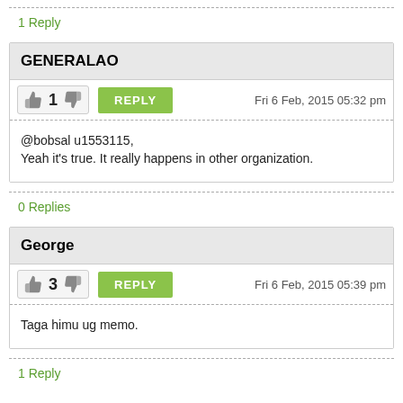1 Reply
GENERALAO
1  REPLY  Fri 6 Feb, 2015 05:32 pm
@bobsal u1553115,
Yeah it's true. It really happens in other organization.
0 Replies
George
3  REPLY  Fri 6 Feb, 2015 05:39 pm
Taga himu ug memo.
1 Reply